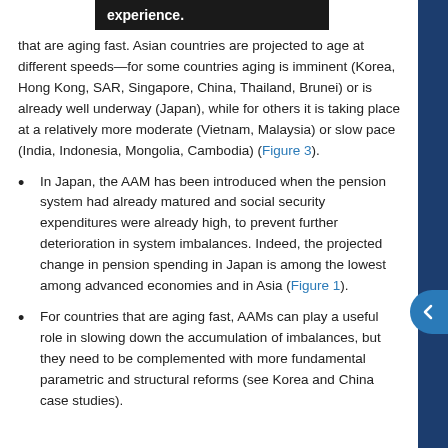suffic experience. that are aging fast. Asian countries are projected to age at different speeds—for some countries aging is imminent (Korea, Hong Kong, SAR, Singapore, China, Thailand, Brunei) or is already well underway (Japan), while for others it is taking place at a relatively more moderate (Vietnam, Malaysia) or slow pace (India, Indonesia, Mongolia, Cambodia) (Figure 3).
In Japan, the AAM has been introduced when the pension system had already matured and social security expenditures were already high, to prevent further deterioration in system imbalances. Indeed, the projected change in pension spending in Japan is among the lowest among advanced economies and in Asia (Figure 1).
For countries that are aging fast, AAMs can play a useful role in slowing down the accumulation of imbalances, but they need to be complemented with more fundamental parametric and structural reforms (see Korea and China case studies).